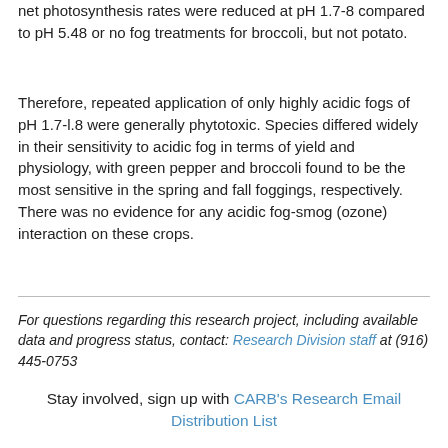net photosynthesis rates were reduced at pH 1.7-8 compared to pH 5.48 or no fog treatments for broccoli, but not potato.
Therefore, repeated application of only highly acidic fogs of pH 1.7-l.8 were generally phytotoxic. Species differed widely in their sensitivity to acidic fog in terms of yield and physiology, with green pepper and broccoli found to be the most sensitive in the spring and fall foggings, respectively. There was no evidence for any acidic fog-smog (ozone) interaction on these crops.
For questions regarding this research project, including available data and progress status, contact: Research Division staff at (916) 445-0753
Stay involved, sign up with CARB's Research Email Distribution List